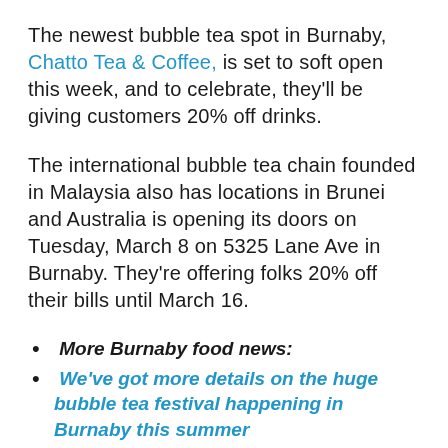The newest bubble tea spot in Burnaby, Chatto Tea & Coffee, is set to soft open this week, and to celebrate, they'll be giving customers 20% off drinks.
The international bubble tea chain founded in Malaysia also has locations in Brunei and Australia is opening its doors on Tuesday, March 8 on 5325 Lane Ave in Burnaby. They're offering folks 20% off their bills until March 16.
More Burnaby food news:
We've got more details on the huge bubble tea festival happening in Burnaby this summer
A new pizza spot specializing in sourdough crust is opening in Burnaby next month